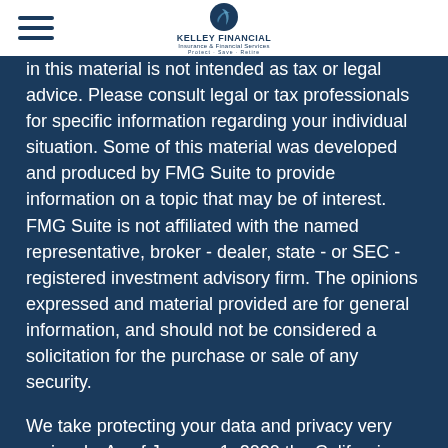Kelley Financial Insurance & Financial Services
in this material is not intended as tax or legal advice. Please consult legal or tax professionals for specific information regarding your individual situation. Some of this material was developed and produced by FMG Suite to provide information on a topic that may be of interest. FMG Suite is not affiliated with the named representative, broker - dealer, state - or SEC - registered investment advisory firm. The opinions expressed and material provided are for general information, and should not be considered a solicitation for the purchase or sale of any security.
We take protecting your data and privacy very seriously. As of January 1, 2020 the California Consumer Privacy Act (CCPA) suggests the